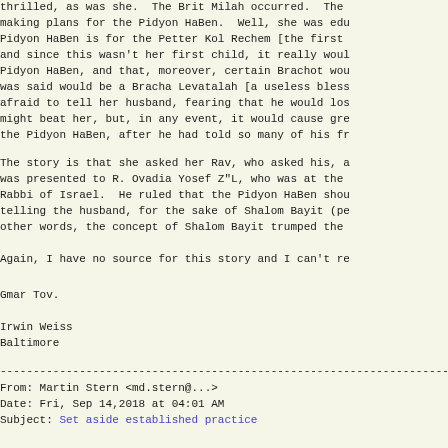thrilled, as was she.  The Brit Milah occurred.  The
making plans for the Pidyon HaBen.  Well, she was edu
Pidyon HaBen is for the Petter Kol Rechem [the first
and since this wasn't her first child, it really woul
Pidyon HaBen, and that, moreover, certain Brachot wou
was said would be a Bracha Levatalah [a useless bless
afraid to tell her husband, fearing that he would los
might beat her, but, in any event, it would cause gre
the Pidyon HaBen, after he had told so many of his fr
The story is that she asked her Rav, who asked his, a
was presented to R. Ovadia Yosef Z"L, who was at the
Rabbi of Israel.  He ruled that the Pidyon HaBen shou
telling the husband, for the sake of Shalom Bayit (pe
other words, the concept of Shalom Bayit trumped the
Again, I have no source for this story and I can't re
Gmar Tov.
Irwin Weiss
Baltimore
------------------------------------------------------------------------
From: Martin Stern <md.stern@...>
Date: Fri, Sep 14,2018 at 04:01 AM
Subject: Set aside established practice